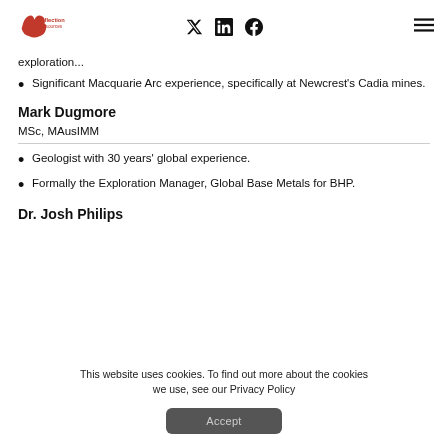Inflection Resources | Twitter | LinkedIn | Facebook | Menu
exploration...
Significant Macquarie Arc experience, specifically at Newcrest's Cadia mines.
Mark Dugmore
MSc, MAusIMM
Geologist with 30 years' global experience.
Formally the Exploration Manager, Global Base Metals for BHP.
Dr. Josh Philips
This website uses cookies. To find out more about the cookies we use, see our Privacy Policy
Accept